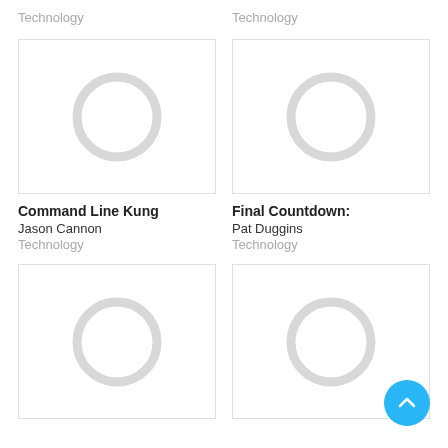Technology
Technology
[Figure (illustration): Placeholder book cover image with circle graphic - Command Line Kung]
[Figure (illustration): Placeholder book cover image with circle graphic - Final Countdown]
Command Line Kung
Jason Cannon
Technology
Final Countdown:
Pat Duggins
Technology
[Figure (illustration): Placeholder book cover image with circle graphic - bottom left]
[Figure (illustration): Placeholder book cover image with circle graphic - bottom right]